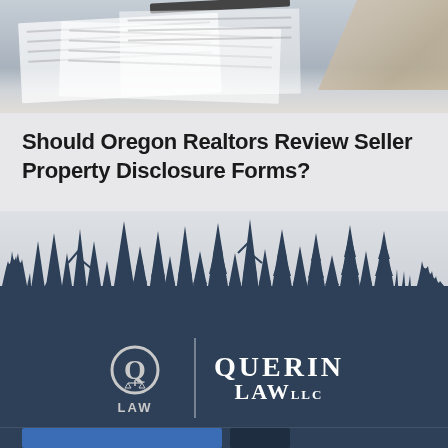[Figure (photo): Close-up photo of documents/papers on a desk with a hand holding a pen, suggesting reviewing or signing paperwork]
Should Oregon Realtors Review Seller Property Disclosure Forms?
[Figure (illustration): Dark silhouette of a forest treeline (pine/fir trees) against a light grey background, transitioning to a dark navy footer]
[Figure (logo): Querin Law LLC logo — circular Q mark with 'LAW' text beneath, vertical divider, and 'QUERIN LAW LLC' text — white on dark navy background]